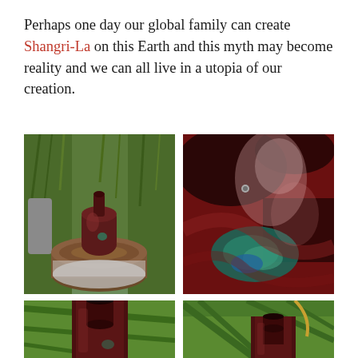Perhaps one day our global family can create Shangri-La on this Earth and this myth may become reality and we can all live in a utopia of our creation.
[Figure (photo): A dark reddish-brown ceramic vase/bottle sitting atop a cut tree stump dusted with white frost or ash, surrounded by green foliage.]
[Figure (photo): Close-up macro photograph of a dark red glossy ceramic vessel with teal and turquoise glaze swirls visible on the surface.]
[Figure (photo): Bottom-left partial view of a dark reddish-brown ceramic bottle neck opening, with green plants in background.]
[Figure (photo): Bottom-right partial view of a dark reddish-brown ceramic bottle neck opening among green foliage.]